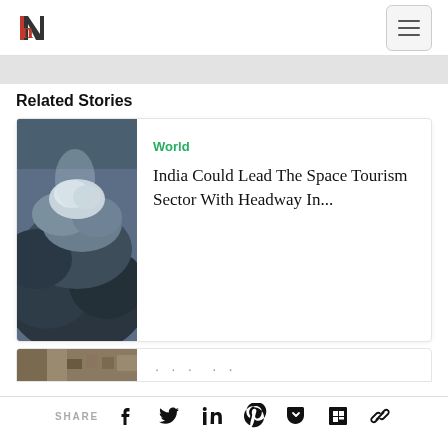n (logo) | menu button
Related Stories
[Figure (photo): Dramatic cloud formation viewed from above, dark stormy clouds with light breaking through]
World
India Could Lead The Space Tourism Sector With Headway In...
[Figure (photo): Partially visible second article thumbnail - landscape/crowd scene]
SHARE [Facebook] [Twitter] [LinkedIn] [Pinterest] [Pocket] [Flipboard] [Link]